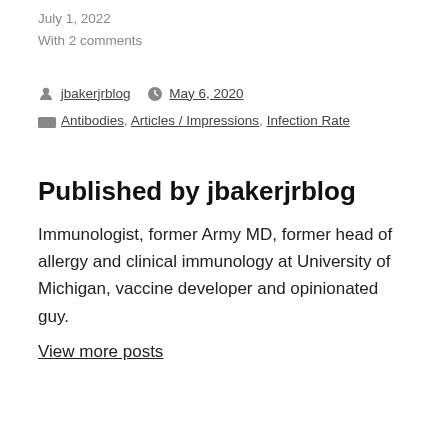July 1, 2022
With 2 comments
by jbakerjrblog  May 6, 2020
Antibodies, Articles / Impressions, Infection Rate
Published by jbakerjrblog
Immunologist, former Army MD, former head of allergy and clinical immunology at University of Michigan, vaccine developer and opinionated guy.
View more posts